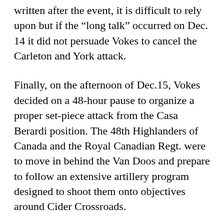written after the event, it is difficult to rely upon but if the “long talk” occurred on Dec. 14 it did not persuade Vokes to cancel the Carleton and York attack.
Finally, on the afternoon of Dec.15, Vokes decided on a 48-hour pause to organize a proper set-piece attack from the Casa Berardi position. The 48th Highlanders of Canada and the Royal Canadian Regt. were to move in behind the Van Doos and prepare to follow an extensive artillery program designed to shoot them onto objectives around Cider Crossroads.
The guns of nine field and three medium regiments would fire two artillery programs,